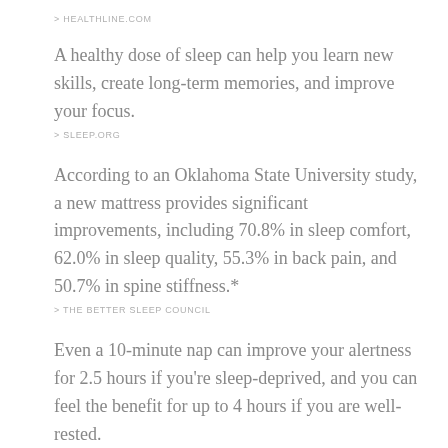> HEALTHLINE.COM
A healthy dose of sleep can help you learn new skills, create long-term memories, and improve your focus.
> SLEEP.ORG
According to an Oklahoma State University study, a new mattress provides significant improvements, including 70.8% in sleep comfort, 62.0% in sleep quality, 55.3% in back pain, and 50.7% in spine stiffness.*
> THE BETTER SLEEP COUNCIL
Even a 10-minute nap can improve your alertness for 2.5 hours if you're sleep-deprived, and you can feel the benefit for up to 4 hours if you are well-rested.